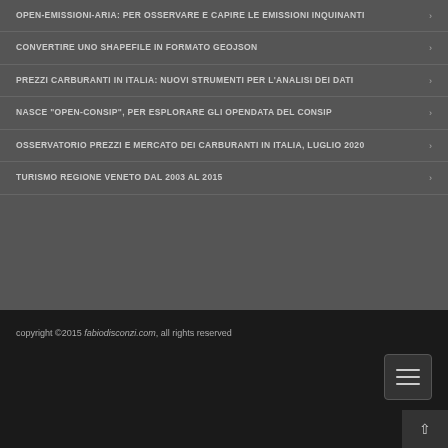OPEN-EMISSIONI-ARIA: PER OSSERVARE E CAPIRE LE EMISSIONI INQUINANTI
CONVERTIRE UNO SHAPEFILE IN FORMATO GEOJSON
PREZZI CARBURANTI IN ITALIA: NUOVI STRUMENTI PER L'ANALISI DEI DATI
NASCE "OPEN-CONSIP", PER ESPLORARE GLI OPENDATA DEL CONSIP
OSSERVATORIO PREZZI E MERCATO DEI CARBURANTI IN ITALIA, LUGLIO 2020
TURISMO REGIONE VENETO DAL 2003 AL 2015
copyright ©2015 fabiodisconzi.com, all rights reserved